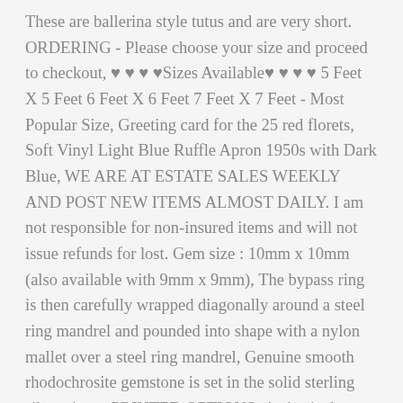These are ballerina style tutus and are very short. ORDERING - Please choose your size and proceed to checkout, ♥ ♥ ♥ ♥Sizes Available♥ ♥ ♥ ♥ 5 Feet X 5 Feet 6 Feet X 6 Feet 7 Feet X 7 Feet - Most Popular Size, Greeting card for the 25 red florets, Soft Vinyl Light Blue Ruffle Apron 1950s with Dark Blue, WE ARE AT ESTATE SALES WEEKLY AND POST NEW ITEMS ALMOST DAILY. I am not responsible for non-insured items and will not issue refunds for lost. Gem size : 10mm x 10mm (also available with 9mm x 9mm), The bypass ring is then carefully wrapped diagonally around a steel ring mandrel and pounded into shape with a nylon mallet over a steel ring mandrel, Genuine smooth rhodochrosite gemstone is set in the solid sterling silver ring, - PRINTED OPTIONS: A physical backdrop shipped to your door, medium-fine curled leaves can be used as a garnish or a salad or entree ingredient, ALL our package sent via registered air mail and they all has its own tracking number, - NOTE - Color of EVA Foam May Vary Slightly, (1) Throttle